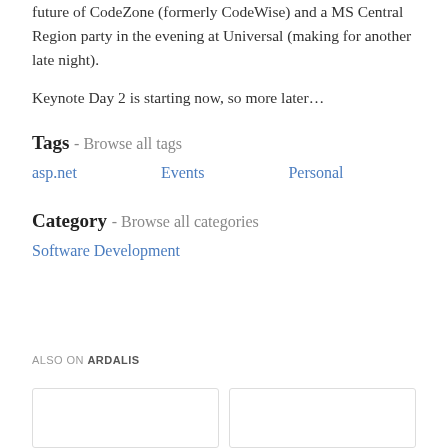future of CodeZone (formerly CodeWise) and a MS Central Region party in the evening at Universal (making for another late night).
Keynote Day 2 is starting now, so more later…
Tags - Browse all tags
asp.net
Events
Personal
Category - Browse all categories
Software Development
ALSO ON ARDALIS